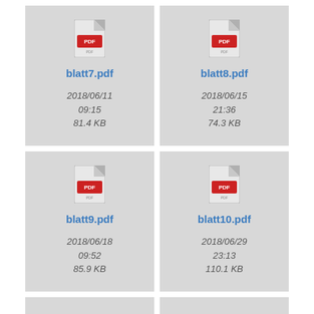[Figure (other): File browser grid showing PDF file icons with filenames, dates, and sizes. blatt7.pdf - 2018/06/11 09:15, 81.4 KB]
[Figure (other): PDF file icon. blatt8.pdf - 2018/06/15 21:36, 74.3 KB]
[Figure (other): PDF file icon. blatt9.pdf - 2018/06/18 09:52, 85.9 KB]
[Figure (other): PDF file icon. blatt10.pdf - 2018/06/29 23:13, 110.1 KB]
[Figure (other): Partial PDF file card at bottom left (clipped)]
[Figure (other): Partial PDF file card at bottom right (clipped)]